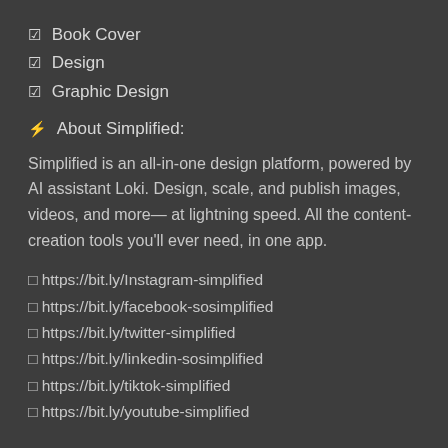☑ Book Cover
☑ Design
☑ Graphic Design
⚡ About Simplified:
Simplified is an all-in-one design platform, powered by AI assistant Loki. Design, scale, and publish images, videos, and more— at lightning speed. All the content-creation tools you'll ever need, in one app.
□ https://bit.ly/Instagram-simplified
□ https://bit.ly/facebook-sosimplified
□ https://bit.ly/twitter-simplified
□ https://bit.ly/linkedin-sosimplified
□ https://bit.ly/tiktok-simplified
□ https://bit.ly/youtube-simplified